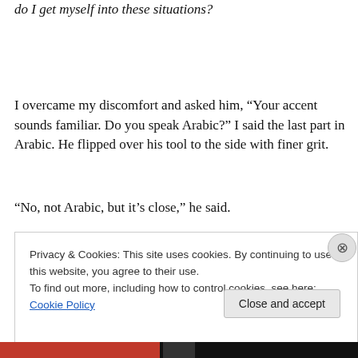do I get myself into these situations?
I overcame my discomfort and asked him, “Your accent sounds familiar. Do you speak Arabic?” I said the last part in Arabic. He flipped over his tool to the side with finer grit.
“No, not Arabic, but it’s close,” he said.
“Oh. Where are you from?”
Privacy & Cookies: This site uses cookies. By continuing to use this website, you agree to their use.
To find out more, including how to control cookies, see here: Cookie Policy